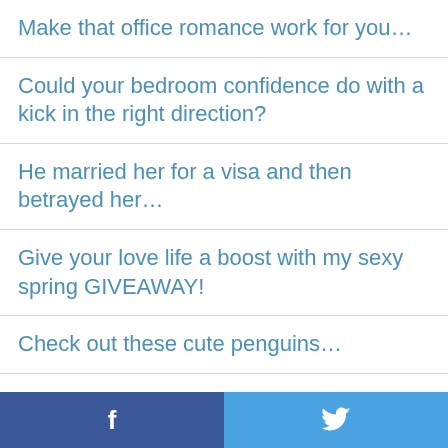Make that office romance work for you…
Could your bedroom confidence do with a kick in the right direction?
He married her for a visa and then betrayed her…
Give your love life a boost with my sexy spring GIVEAWAY!
Check out these cute penguins…
Enjoy a sizzling 'bonk' holiday…
Her parents want grandchildren, a foot fetish…
[Figure (other): Social media share bar with Facebook and Twitter buttons at the bottom of the page]